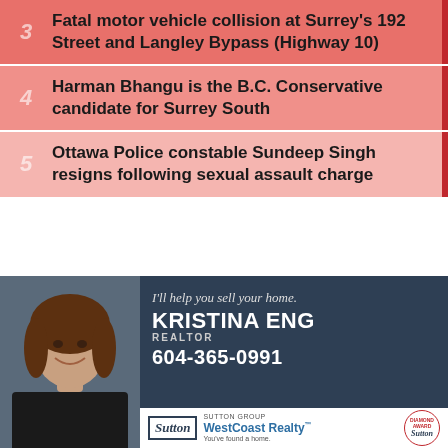3 Fatal motor vehicle collision at Surrey's 192 Street and Langley Bypass (Highway 10)
4 Harman Bhangu is the B.C. Conservative candidate for Surrey South
5 Ottawa Police constable Sundeep Singh resigns following sexual assault charge
[Figure (photo): Advertisement for Kristina Eng, Realtor at Sutton Group WestCoast Realty. Shows photo of smiling woman with brown hair. Text: I'll help you sell your home. KRISTINA ENG REALTOR 604-365-0991. Sutton Group WestCoast Realty - You've found a home. With award badge.]